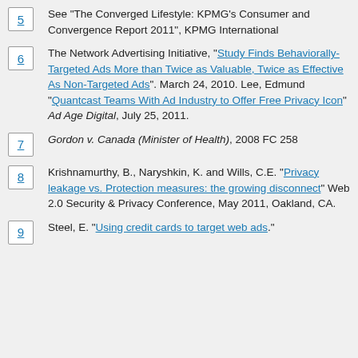5 — See “The Converged Lifestyle: KPMG’s Consumer and Convergence Report 2011”, KPMG International
6 — The Network Advertising Initiative, “Study Finds Behaviorally-Targeted Ads More than Twice as Valuable, Twice as Effective As Non-Targeted Ads”. March 24, 2010. Lee, Edmund “Quantcast Teams With Ad Industry to Offer Free Privacy Icon” Ad Age Digital, July 25, 2011.
7 — Gordon v. Canada (Minister of Health), 2008 FC 258
8 — Krishnamurthy, B., Naryshkin, K. and Wills, C.E. “Privacy leakage vs. Protection measures: the growing disconnect” Web 2.0 Security & Privacy Conference, May 2011, Oakland, CA.
9 — Steel, E. “Using credit cards to target web ads.”